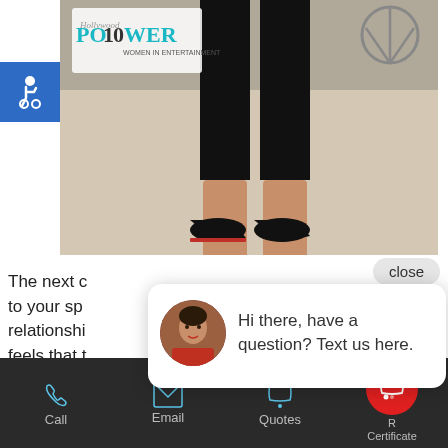[Figure (photo): Photo of a person's legs wearing black high heels at a Hollywood Reporter Power 100 event, with a Mercedes-Benz logo in background]
[Figure (screenshot): Accessibility icon (wheelchair symbol) on blue background in top-left corner]
The next c to your sp relationship feels that t The 2 main should be pleased with their
[Figure (screenshot): Chat popup widget with avatar photo and text: Hi there, have a question? Text us here. With a close button above.]
[Figure (screenshot): Mobile website bottom toolbar with Call, Email, Quotes, and Rate Certificate buttons, with red chat icon overlay]